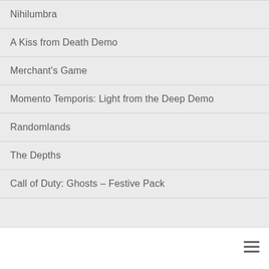Nihilumbra
A Kiss from Death Demo
Merchant's Game
Momento Temporis: Light from the Deep Demo
Randomlands
The Depths
Call of Duty: Ghosts – Festive Pack